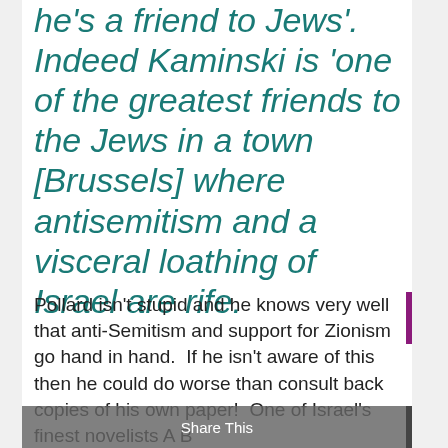he's a friend to Jews'.  Indeed Kaminski is 'one of the greatest friends to the Jews in a town [Brussels] where antisemitism and a visceral loathing of Israel are rife.
Pollard isn't stupid and he knows very well that anti-Semitism and support for Zionism go hand in hand.  If he isn't aware of this then he could do worse than consult back copies of his own paper!  One of Israel's finest novelists A B